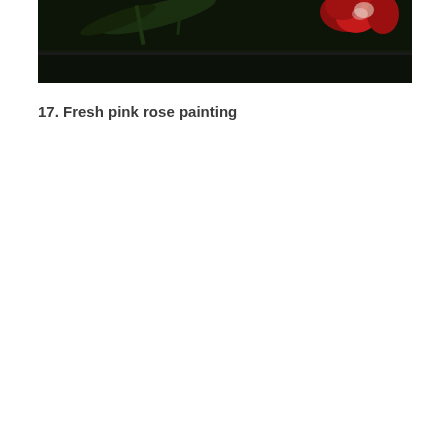[Figure (photo): A dark-toned close-up photograph of red/pink flowers (carnations or roses) with green stems and leaves against a very dark, nearly black background. The flowers appear fresh with vivid red petals visible in the upper right portion of the image.]
17. Fresh pink rose painting